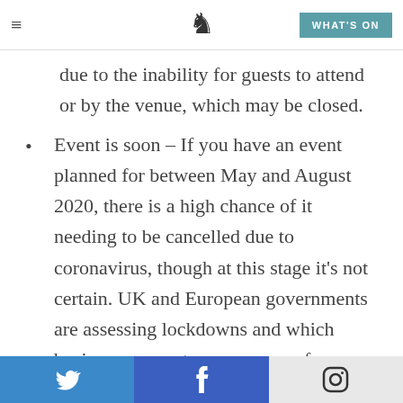≡  [logo]  WHAT'S ON
due to the inability for guests to attend or by the venue, which may be closed.
Event is soon – If you have an event planned for between May and August 2020, there is a high chance of it needing to be cancelled due to coronavirus, though at this stage it's not certain. UK and European governments are assessing lockdowns and which businesses can stay open every few weeks so it's not a certainty yet that you'll have to cancel.
Twitter  Facebook  Instagram